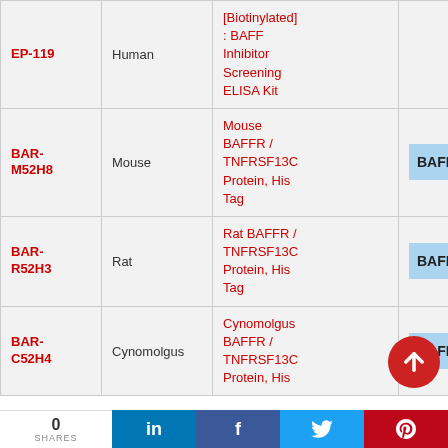| ID | Species | Product | Tag |
| --- | --- | --- | --- |
| EP-119 | Human | [Biotinylated]: BAFF Inhibitor Screening ELISA Kit |  |
| BAR-M52H8 | Mouse | Mouse BAFFR / TNFRSF13C Protein, His Tag | BAFFR (10-7... |
| BAR-R52H3 | Rat | Rat BAFFR / TNFRSF13C Protein, His Tag | BAFFR (10-6... |
| BAR-C52H4 | Cynomolgus | Cynomolgus BAFFR / TNFRSF13C Protein, His | BAFFR (7-76... |